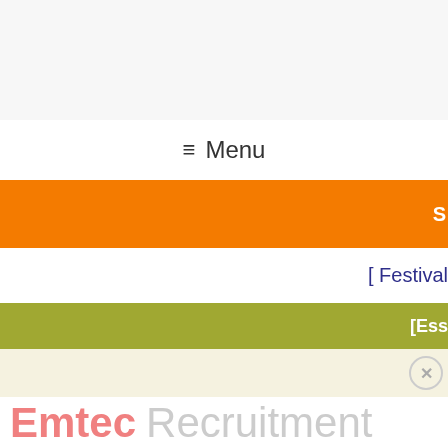[Figure (screenshot): Top navigation area with light gray background bar]
≡ Menu
S
[ Festival
[Ess
[Figure (logo): Emtec Recruitment logo with 'Emtec' in salmon/pink bold and 'Recruitment' in light gray]